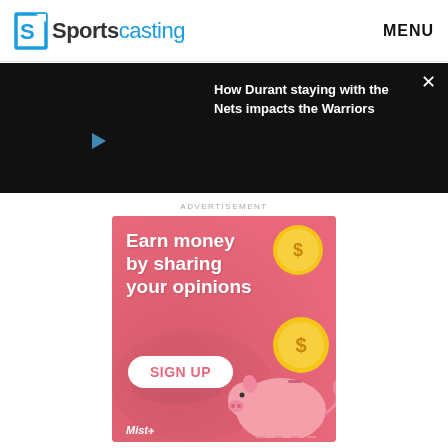Sportscasting | MENU
[Figure (screenshot): Dark video player panel with white text title: 'How Durant staying with the Nets impacts the Warriors' and a small play icon, with a close X button in top right corner]
ADVERTISEMENT
[Figure (infographic): Pink advertisement banner: 'Earn money by sharing your opinions' with gold coin icons, a SIGN UP button, a piggy bank illustration, and Mist logo at bottom left]